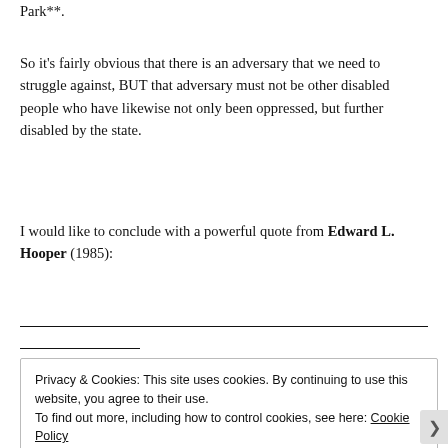Park**.
So it’s fairly obvious that there is an adversary that we need to struggle against, BUT that adversary must not be other disabled people who have likewise not only been oppressed, but further disabled by the state.
I would like to conclude with a powerful quote from Edward L. Hooper (1985):
Privacy & Cookies: This site uses cookies. By continuing to use this website, you agree to their use. To find out more, including how to control cookies, see here: Cookie Policy
Close and accept